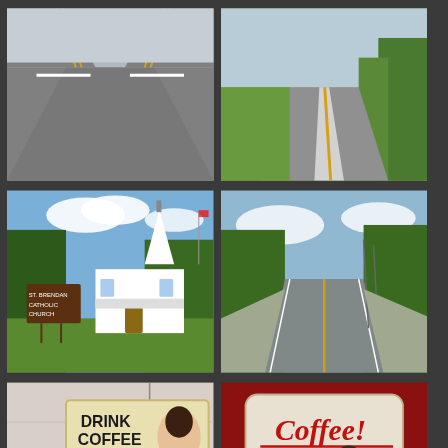[Figure (photo): Road intersection viewed from driver perspective, gray asphalt with yellow center lines, clear sky]
[Figure (photo): Straight rural road with white lane markings, green trees on right side, clear sky]
[Figure (photo): Small white Catholic church with steeple and sign reading St. Brendan Catholic Church, sunny day with blue sky]
[Figure (photo): Straight rural highway flanked by tall green trees, telephone poles visible, blue sky with clouds]
[Figure (photo): Vintage novelty sign reading DRINK COFFEE Do Stupid Things Faster with More Energy, with retro woman illustration, coffee maker below]
[Figure (photo): Novelty tin sign with retro 1950s woman holding coffee cup reading Coffee! If you're not shaking, you need another cup., red background]
[Figure (photo): Blue sky with white clouds and green trees at bottom]
[Figure (photo): Blue sky with white clouds and green trees at bottom]